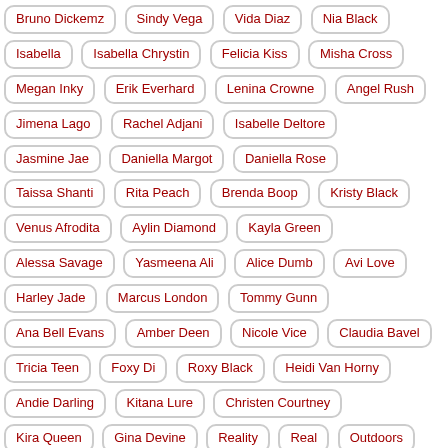Bruno Dickemz
Sindy Vega
Vida Diaz
Nia Black
Isabella
Isabella Chrystin
Felicia Kiss
Misha Cross
Megan Inky
Erik Everhard
Lenina Crowne
Angel Rush
Jimena Lago
Rachel Adjani
Isabelle Deltore
Jasmine Jae
Daniella Margot
Daniella Rose
Taissa Shanti
Rita Peach
Brenda Boop
Kristy Black
Venus Afrodita
Aylin Diamond
Kayla Green
Alessa Savage
Yasmeena Ali
Alice Dumb
Avi Love
Harley Jade
Marcus London
Tommy Gunn
Ana Bell Evans
Amber Deen
Nicole Vice
Claudia Bavel
Tricia Teen
Foxy Di
Roxy Black
Heidi Van Horny
Andie Darling
Kitana Lure
Christen Courtney
Kira Queen
Gina Devine
Reality
Real
Outdoors